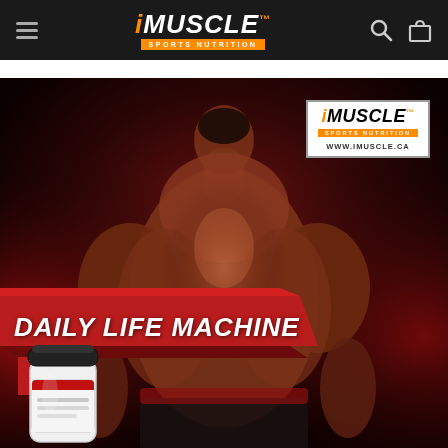iMUSCLE Sports Nutrition navigation bar
[Figure (photo): Hero promotional image showing a muscular bodybuilder from behind with a dark red dramatic background, featuring the iMUSCLE brand logo box in the upper right with WWW.IMUSCLE.CA text, a red diagonal banner reading 'DAILY LIFE MACHINE' in the lower left, and a white supplement jar product photo at the bottom left corner.]